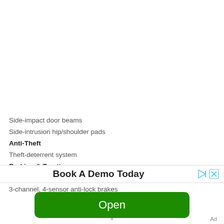Side-impact door beams
Side-intrusion hip/shoulder pads
Anti-Theft
Theft-deterrent system
Braking & Traction
3-channel, 4-sensor anti-lock brakes
3-channel, 4-sensor anti-lock brakes
[Figure (screenshot): Advertisement banner with text 'Book A Demo Today' and play/close controls, followed by a green 'Open' button and 'Ad' label]
Ad